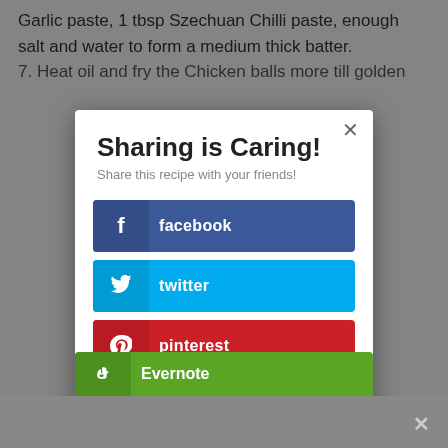Garlic paste, 1 tbsp Szechuan Chilli paste, enough salt and water to form a medium thick batter.
7. Heat oil and fry the Chicken balls more till golden…
Sharing is Caring!
Share this recipe with your friends!
facebook
twitter
pinterest
Tumblr
reddit
Evernote